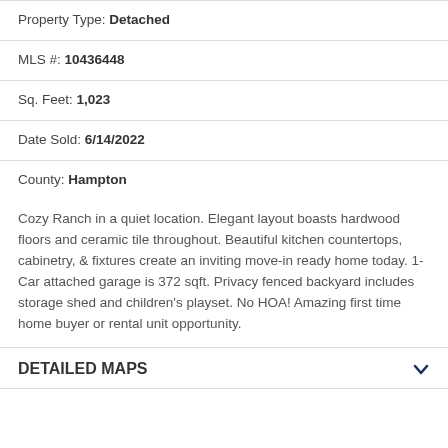Property Type: Detached
MLS #: 10436448
Sq. Feet: 1,023
Date Sold: 6/14/2022
County: Hampton
Cozy Ranch in a quiet location. Elegant layout boasts hardwood floors and ceramic tile throughout. Beautiful kitchen countertops, cabinetry, & fixtures create an inviting move-in ready home today. 1-Car attached garage is 372 sqft. Privacy fenced backyard includes storage shed and children's playset. No HOA! Amazing first time home buyer or rental unit opportunity.
DETAILED MAPS